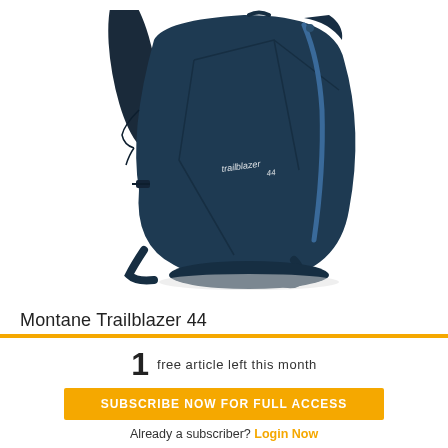[Figure (photo): A dark navy blue Montane Trailblazer 44 hiking backpack shown from the front-left angle on a white background. The pack features geometric panel stitching, a side zipper in lighter blue, compression straps, hip belt, and 'trailblazer 44' text logo on the front panel.]
Montane Trailblazer 44
1  free article left this month
SUBSCRIBE NOW FOR FULL ACCESS
Already a subscriber? Login Now